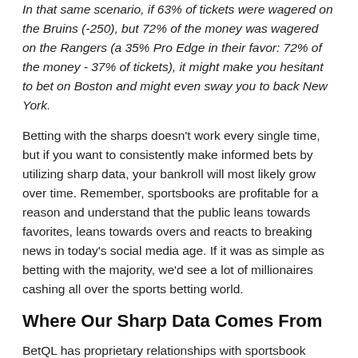In that same scenario, if 63% of tickets were wagered on the Bruins (-250), but 72% of the money was wagered on the Rangers (a 35% Pro Edge in their favor: 72% of the money - 37% of tickets), it might make you hesitant to bet on Boston and might even sway you to back New York.
Betting with the sharps doesn't work every single time, but if you want to consistently make informed bets by utilizing sharp data, your bankroll will most likely grow over time. Remember, sportsbooks are profitable for a reason and understand that the public leans towards favorites, leans towards overs and reacts to breaking news in today's social media age. If it was as simple as betting with the majority, we'd see a lot of millionaires cashing all over the sports betting world.
Where Our Sharp Data Comes From
BetQL has proprietary relationships with sportsbook operators that provide this data in exchange for promotional